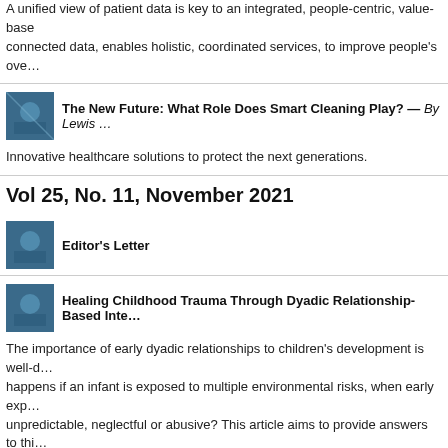A unified view of patient data is key to an integrated, people-centric, value-based connected data, enables holistic, coordinated services, to improve people's ove…
[Figure (illustration): Article thumbnail image with blue/teal abstract design]
The New Future: What Role Does Smart Cleaning Play? — By Lewis …
Innovative healthcare solutions to protect the next generations.
Vol 25, No. 11, November 2021
[Figure (illustration): Article thumbnail image with blue/teal abstract design]
Editor's Letter
[Figure (illustration): Article thumbnail image with blue/teal abstract design]
Healing Childhood Trauma Through Dyadic Relationship-Based Inte…
The importance of early dyadic relationships to children's development is well-d… happens if an infant is exposed to multiple environmental risks, when early exp… unpredictable, neglectful or abusive? This article aims to provide answers to thi… the effects of trauma and adversity on the brains of our youngest children.
Vol 25, No. 10, October 2021
[Figure (illustration): Article thumbnail image with blue/teal abstract design]
Editor's Letter
[Figure (illustration): Article thumbnail image with blue/teal abstract design]
An Inquiry into Life in the Universe — By Carmen Chan and Vanessa …